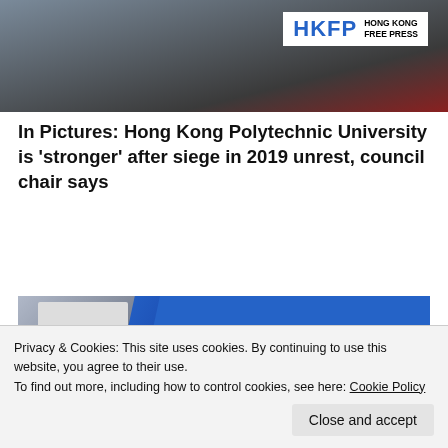[Figure (photo): Group photo of people with HKFP (Hong Kong Free Press) logo overlay in top right corner]
In Pictures: Hong Kong Polytechnic University is 'stronger' after siege in 2019 unrest, council chair says
More stories from today
[Figure (photo): Annual Report banner showing a tablet with HKFP Annual Report on blue background]
[Figure (photo): Code of Ethics banner showing tablet on blue background, partially visible]
Privacy & Cookies: This site uses cookies. By continuing to use this website, you agree to their use.
To find out more, including how to control cookies, see here: Cookie Policy
Close and accept